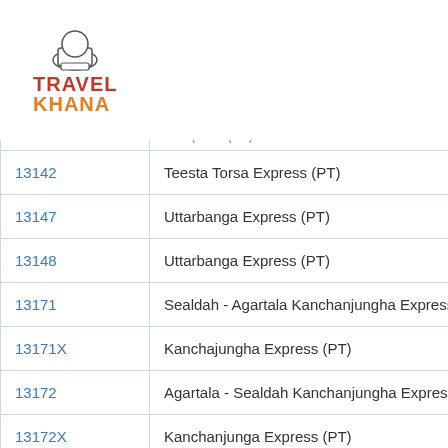[Figure (logo): TravelKhana logo with chef hat icon, 'TRAVEL' in red and 'KHANA' in orange with orange dots underneath]
| Train Number | Train Name |
| --- | --- |
|  | (partial row cut off at top) |
| 13142 | Teesta Torsa Express (PT) |
| 13147 | Uttarbanga Express (PT) |
| 13148 | Uttarbanga Express (PT) |
| 13171 | Sealdah - Agartala Kanchanjungha Express |
| 13171X | Kanchajungha Express (PT) |
| 13172 | Agartala - Sealdah Kanchanjungha Express |
| 13172X | Kanchanjunga Express (PT) |
| 13173 | Sealdah - Agartala Kanchanjungha Express |
| 13173XX | Kanchanjunga Express (PT) |
| 13174 | Agartala - Sealdah Kanchanjungha E... (partial) |